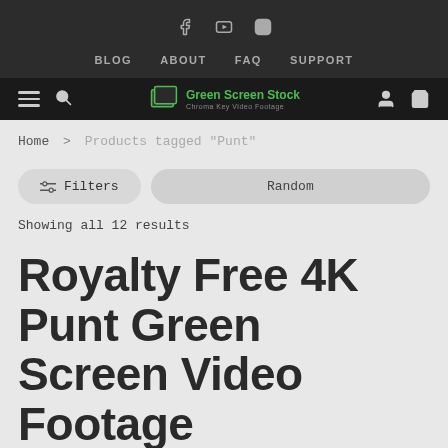Social icons: Facebook, YouTube, Instagram
BLOG  ABOUT  FAQ  SUPPORT
Green Screen Stock — Chroma Key Video Footage
Home > Products tagged "Punt"
Filters  Random
Showing all 12 results
Royalty Free 4K Punt Green Screen Video Footage